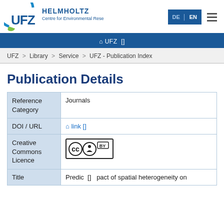[Figure (logo): UFZ Helmholtz Centre for Environmental Research logo with circular blue/green arc and UFZ text]
DE | EN  ☰
⌂ UFZ []
UFZ > Library > Service > UFZ - Publication Index
Publication Details
| Reference Category | Journals |
| DOI / URL | ⌂ link [] |
| Creative Commons Licence | [CC BY badge] |
| Title | Predic[...] pact of spatial heterogeneity on |